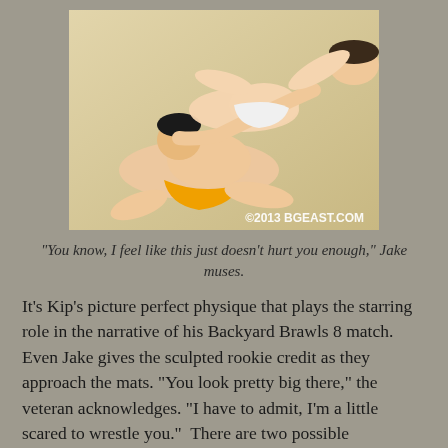[Figure (photo): Two young male wrestlers on a mat, one in orange briefs being held in a submission hold by the other. Watermark reads ©2013 BGEAST.COM]
“You know, I feel like this just doesn’t hurt you enough,” Jake muses.
It’s Kip’s picture perfect physique that plays the starring role in the narrative of his Backyard Brawls 8 match. Even Jake gives the sculpted rookie credit as they approach the mats. “You look pretty big there,” the veteran acknowledges. “I have to admit, I’m a little scared to wrestle you.” There are two possible explanations for this stunningly self-deprecating maneuver from Jake. First, he’s genuinely scared. If I saw a specimen of muscle and